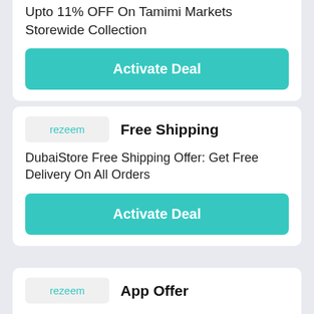Upto 11% OFF On Tamimi Markets Storewide Collection
Activate Deal
Free Shipping
DubaiStore Free Shipping Offer: Get Free Delivery On All Orders
Activate Deal
App Offer
Maison7 App Code: Flat 15% OFF On Your First Order